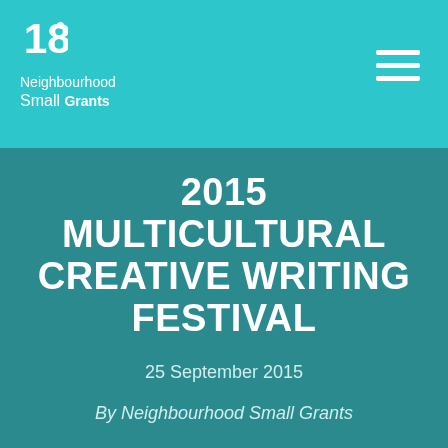Neighbourhood Small Grants
2015 MULTICULTURAL CREATIVE WRITING FESTIVAL
25 September 2015
By Neighbourhood Small Grants